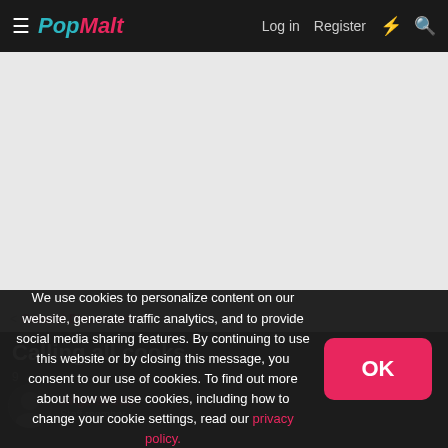PopMalt — Log in   Register
[Figure (other): Grey advertisement placeholder area]
< General Discussion
Calling all cooks
9
AngelsPeak   Staff member
We use cookies to personalize content on our website, generate traffic analytics, and to provide social media sharing features. By continuing to use this website or by closing this message, you consent to our use of cookies. To find out more about how we use cookies, including how to change your cookie settings, read our privacy policy.